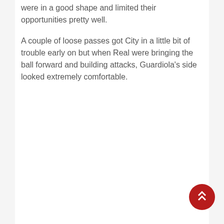were in a good shape and limited their opportunities pretty well.
A couple of loose passes got City in a little bit of trouble early on but when Real were bringing the ball forward and building attacks, Guardiola's side looked extremely comfortable.
[Figure (other): Red circular floating action button with double upward chevron arrow icon, positioned in the bottom-right corner of the page.]